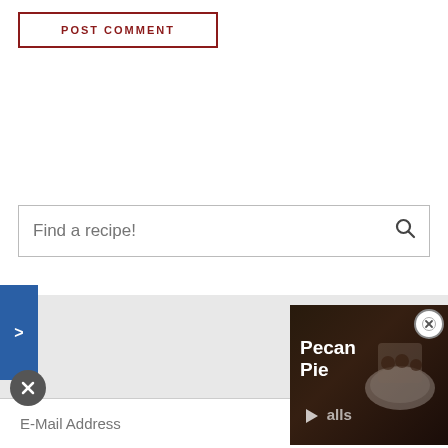POST COMMENT
Find a recipe!
[Figure (screenshot): Newsletter subscription promo area with closet cooking book cover image showing food photos, subscribe text, and email address input field]
[Figure (screenshot): Video overlay showing Pecan Pie Balls recipe video thumbnail with play button]